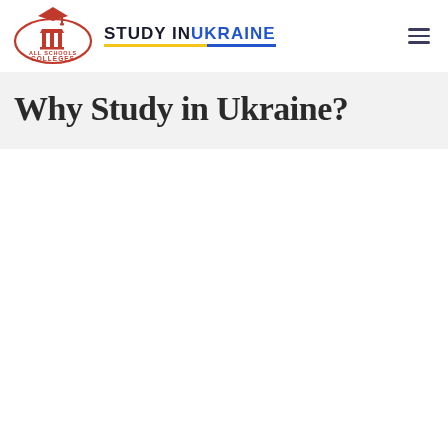[Figure (logo): All Schools Colleges logo — a red oval/capsule border with a graduation cap on top and two building pillars inside, text reads ALL SCHOOLS COLLEGES, tagline EXPLORE · DECIDE · APPLY]
STUDY IN UKRAINE
Why Study in Ukraine?